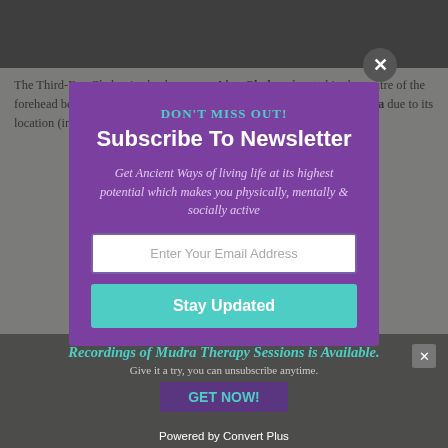[Figure (screenshot): Background article page showing text about Third-Eye Chakra (Ajna Chakra) located on the forehead between the eyebrows, also referred to as the Brow Chakra. A purple newsletter subscription popup modal overlays the page with a close button, DON'T MISS OUT! heading, Subscribe To Newsletter title, descriptive text, email input field, Stay Updated button, and Powered by Convert Plus footer. A secondary advertisement banner is partially visible at the bottom.]
The Third-Eye Chakra is also known as Ajna Chakra, located in the centre of the forehead between the eyebrows. It is also referred to as the Brow Chakra due to its location (in the space between the eyes).
DON'T MISS OUT!
Subscribe To Newsletter
Get Ancient Ways of living life at its highest potential which makes you physically, mentally & socially active
Enter Your Email Address
Stay Updated
Recordings of Mudra Therapy Sessions is Available.
Give it a try, you can unsubscribe anytime.
GET NOW!
Powered by Convert Plus